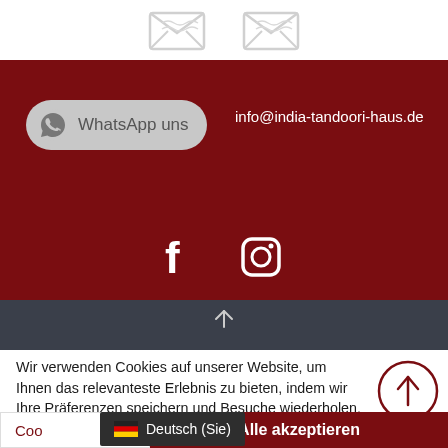[Figure (illustration): Two envelope/letter icons in light gray outline style on white background]
[Figure (screenshot): Dark red footer section with WhatsApp button, email address info@india-tandoori-haus.de, Facebook and Instagram social icons]
Wir verwenden Cookies auf unserer Website, um Ihnen das relevanteste Erlebnis zu bieten, indem wir Ihre Präferenzen speichern und Besuche wiederholen. Indem Sie auf "Alle akzeptieren" klicken, stimmen Sie der Verwendung ALLER Cookies zu. Sie können jedoch die "Cookie-Einstellungen" besuchen, um eine kontrollierte Zustimmung zu erteilen.
[Figure (illustration): Circle with up-arrow scroll-to-top button on dark navy bar]
Cookie-Einstellungen
Alle akzeptieren
Deutsch (Sie)